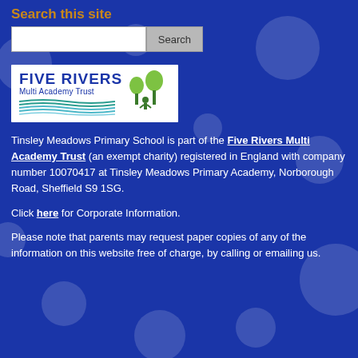Search this site
[Figure (screenshot): Search bar with text input field and Search button]
[Figure (logo): Five Rivers Multi Academy Trust logo with tree illustration and wave lines]
Tinsley Meadows Primary School is part of the Five Rivers Multi Academy Trust (an exempt charity) registered in England with company number 10070417 at Tinsley Meadows Primary Academy, Norborough Road, Sheffield S9 1SG.
Click here for Corporate Information.
Please note that parents may request paper copies of any of the information on this website free of charge, by calling or emailing us.